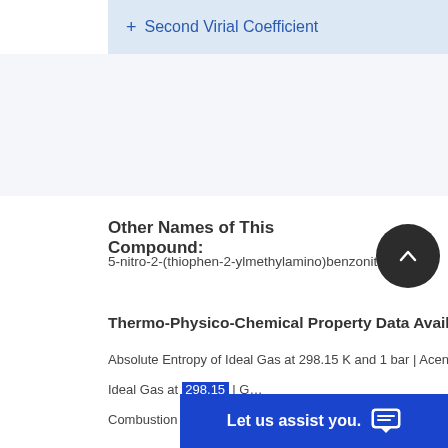+ Second Virial Coefficient
Other Names of This Compound:
5-nitro-2-(thiophen-2-ylmethylamino)benzonitrile…2-(…
Thermo-Physico-Chemical Property Data Available
Absolute Entropy of Ideal Gas at 298.15 K and 1 bar | Acentri…
Ideal Gas at … | G…
Combustion … | Gy…